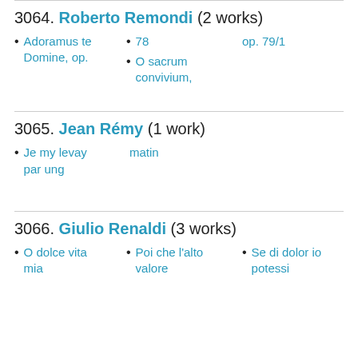3064. Roberto Remondi (2 works)
Adoramus te Domine, op.
78
O sacrum convivium,
op. 79/1
3065. Jean Rémy (1 work)
Je my levay par ung
matin
3066. Giulio Renaldi (3 works)
O dolce vita mia
Poi che l'alto valore
Se di dolor io potessi